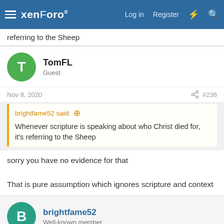xenForo — Log in  Register
referring to the Sheep
TomFL
Guest
Nov 8, 2020  #236
brightfame52 said: ↑
Whenever scripture is speaking about who Christ died for, it's referring to the Sheep
sorry you have no evidence for that

That is pure assumption which ignores scripture and context
brightfame52
Well-known member